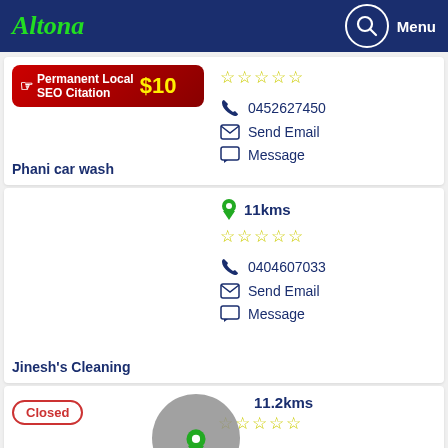Altona — Menu
[Figure (screenshot): Red banner ad: Permanent Local SEO Citation $10 with hand/cursor icon]
☆☆☆☆☆
0452627450
Send Email
Message
Phani car wash
11kms
☆☆☆☆☆
0404607033
Send Email
Message
Jinesh's Cleaning
Closed
11.2kms
☆☆☆☆☆